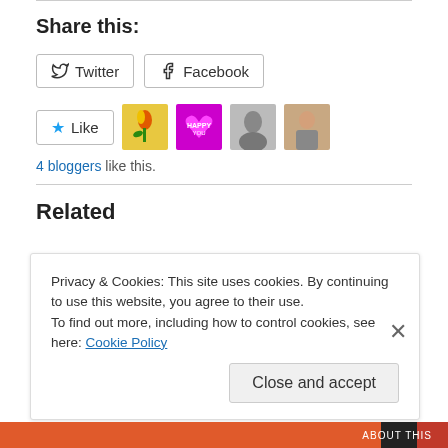Share this:
Twitter  Facebook
[Figure (other): Like button with star icon, followed by four blogger avatar thumbnails (tulip photo, pink heart, black-and-white portrait, seated woman)]
4 bloggers like this.
Related
Privacy & Cookies: This site uses cookies. By continuing to use this website, you agree to their use. To find out more, including how to control cookies, see here: Cookie Policy
Close and accept